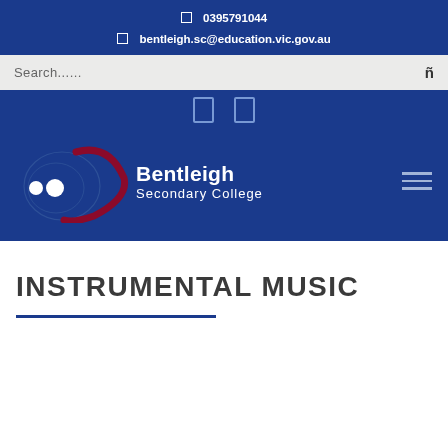0395791044
bentleigh.sc@education.vic.gov.au
[Figure (screenshot): Search bar with placeholder text 'Search......' and a search icon on the right]
[Figure (logo): Bentleigh Secondary College logo with two white dots, a dark red curved swoosh, and text 'Bentleigh Secondary College' on dark blue background]
INSTRUMENTAL MUSIC